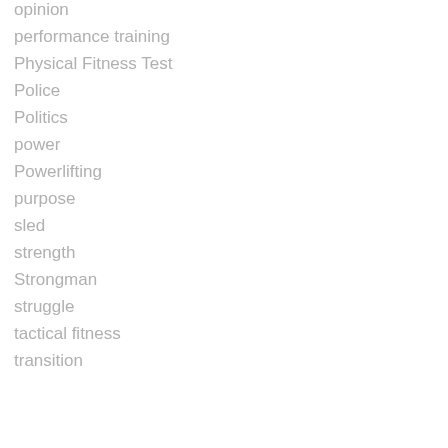opinion
performance training
Physical Fitness Test
Police
Politics
power
Powerlifting
purpose
sled
strength
Strongman
struggle
tactical fitness
transition